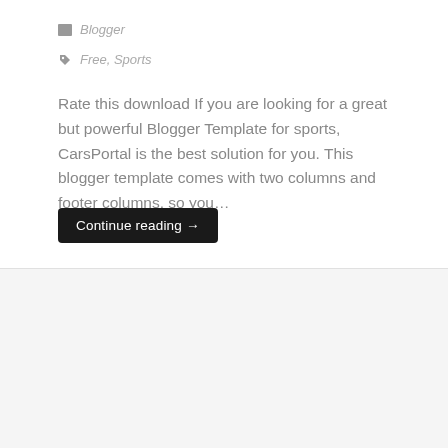Blogger
Free, Sports
Rate this download If you are looking for a great but powerful Blogger Template for sports, CarsPortal is the best solution for you. This blogger template comes with two columns and footer columns, so you…
Continue reading →